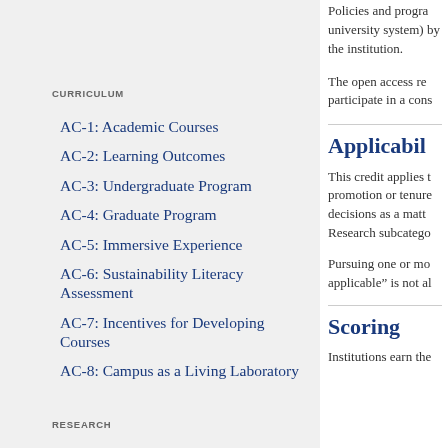CURRICULUM
AC-1: Academic Courses
AC-2: Learning Outcomes
AC-3: Undergraduate Program
AC-4: Graduate Program
AC-5: Immersive Experience
AC-6: Sustainability Literacy Assessment
AC-7: Incentives for Developing Courses
AC-8: Campus as a Living Laboratory
RESEARCH
Policies and programs (university system) by the institution.
The open access re participate in a cons
Applicabil
This credit applies t promotion or tenure decisions as a matt Research subcatego
Pursuing one or mo applicable" is not al
Scoring
Institutions earn the